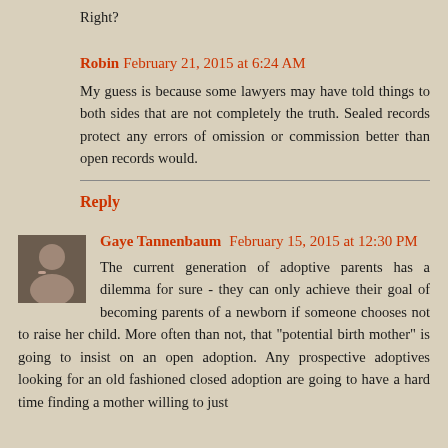Right?
Robin February 21, 2015 at 6:24 AM
My guess is because some lawyers may have told things to both sides that are not completely the truth. Sealed records protect any errors of omission or commission better than open records would.
Reply
Gaye Tannenbaum February 15, 2015 at 12:30 PM
The current generation of adoptive parents has a dilemma for sure - they can only achieve their goal of becoming parents of a newborn if someone chooses not to raise her child. More often than not, that "potential birth mother" is going to insist on an open adoption. Any prospective adoptives looking for an old fashioned closed adoption are going to have a hard time finding a mother willing to just